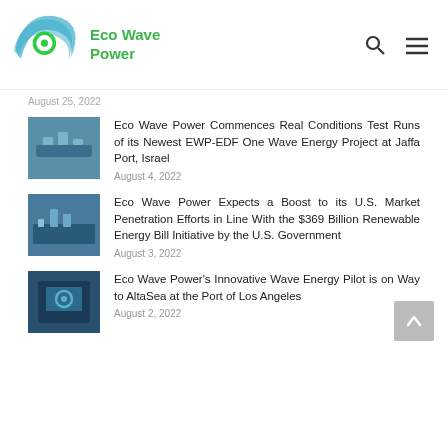Eco Wave Power
August 25, 2022
Eco Wave Power Commences Real Conditions Test Runs of its Newest EWP-EDF One Wave Energy Project at Jaffa Port, Israel
August 4, 2022
Eco Wave Power Expects a Boost to its U.S. Market Penetration Efforts in Line With the $369 Billion Renewable Energy Bill Initiative by the U.S. Government
August 3, 2022
Eco Wave Power's Innovative Wave Energy Pilot is on Way to AltaSea at the Port of Los Angeles
August 2, 2022